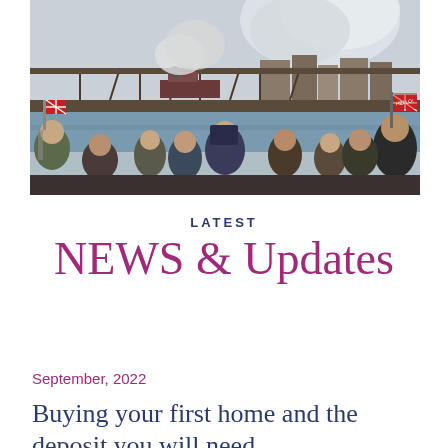[Figure (photo): Crowd of people waving Union Jack flags and taking photos on devices, watching a steam train cross a bridge over a river, with buildings and billowing steam in the background.]
LATEST
NEWS & Updates
September, 2022
Buying your first home and the deposit you will need